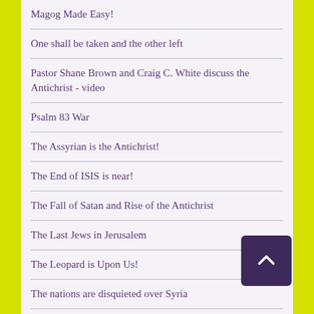Magog Made Easy!
One shall be taken and the other left
Pastor Shane Brown and Craig C. White discuss the Antichrist - video
Psalm 83 War
The Assyrian is the Antichrist!
The End of ISIS is near!
The Fall of Satan and Rise of the Antichrist
The Last Jews in Jerusalem
The Leopard is Upon Us!
The nations are disquieted over Syria
Tribulation Timeline
Turkish President Erdogan will confirm the seven year covenant